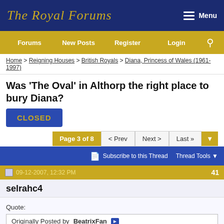The Royal Forums
Menu
Forums | New Posts | Register | Login
Home > Reigning Houses > British Royals > Diana, Princess of Wales (1961-1997)
Was 'The Oval' in Althorp the right place to bury Diana?
CLOSED
Page 3 of 8 | < Prev | Next > | Last »
Subscribe to this Thread | Thread Tools
09-12-2007, 12:32 PM | 41
selrahc4
Quote:
Originally Posted by BeatrixFan